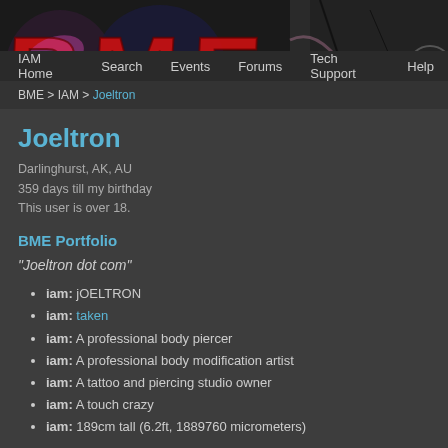[Figure (illustration): BME website banner with large red graffiti-style BME text on a dark rocky background]
IAM Home  Search  Events  Forums  Tech Support  Help
BME > IAM > Joeltron
Joeltron
Darlinghurst, AK, AU
359 days till my birthday
This user is over 18.
BME Portfolio
"Joeltron dot com"
iam: jOELTRON
iam: taken
iam: A professional body piercer
iam: A professional body modification artist
iam: A tattoo and piercing studio owner
iam: A touch crazy
iam: 189cm tall (6.2ft, 1889760 micrometers)